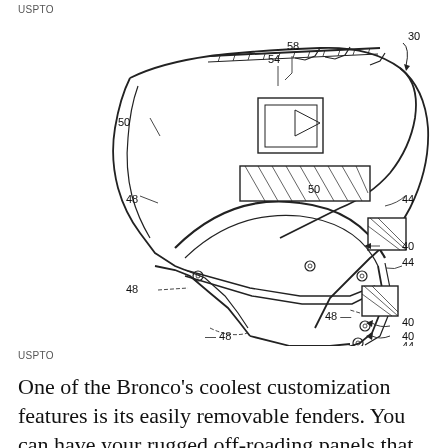USPTO
[Figure (engineering-diagram): Patent engineering diagram of a Ford Bronco fender assembly showing removable fender panels with reference numerals 30, 40, 44, 48, 50, 54, 58 labeling various parts of the fender structure including mounting points, panels, and attachment features.]
USPTO
One of the Bronco's coolest customization features is its easily removable fenders. You can have your rugged off-roading panels that can take a beating and slip the stock ones back on for everyday